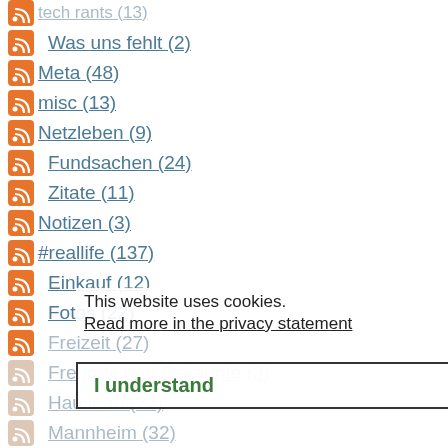tech rants (13)
Was uns fehlt (2)
Meta (48)
misc (13)
Netzleben (9)
Fundsachen (24)
Zitate (11)
Notizen (3)
#reallife (137)
Einkauf (12)
Fotos (22)
Freizeit (27)
Freunde und Bekannte (3)
Hausbau (22)
Mannheim (32)
Maunz2 (34)
Persönliches (12)
Telekommunikation (42)
Testblog (42)
This website uses cookies.
Read more in the privacy statement
I understand